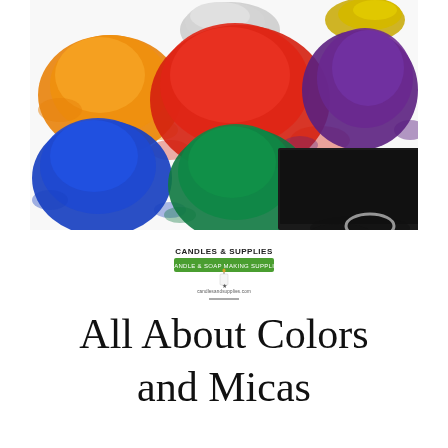[Figure (photo): Colorful mica powder pigments arranged in a grid on a white background: orange, gray/white, gold (top row), red, red (middle row), purple, blue, green, black (bottom row).]
[Figure (logo): Candles & Supplies logo with green banner and candle icon, text reads CANDLES & SUPPLIES with subtitle and website URL candlesandsupplies.com]
All About Colors and Micas